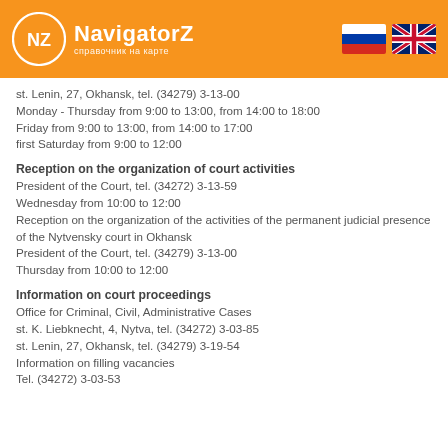[Figure (logo): NavigatorZ logo with orange circle containing NZ letters and text 'справочник на карте', plus Russian and UK flags]
st. Lenin, 27, Okhansk, tel. (34279) 3-13-00
Monday - Thursday from 9:00 to 13:00, from 14:00 to 18:00
Friday from 9:00 to 13:00, from 14:00 to 17:00
first Saturday from 9:00 to 12:00
Reception on the organization of court activities
President of the Court, tel. (34272) 3-13-59
Wednesday from 10:00 to 12:00
Reception on the organization of the activities of the permanent judicial presence of the Nytvensky court in Okhansk
President of the Court, tel. (34279) 3-13-00
Thursday from 10:00 to 12:00
Information on court proceedings
Office for Criminal, Civil, Administrative Cases
st. K. Liebknecht, 4, Nytva, tel. (34272) 3-03-85
st. Lenin, 27, Okhansk, tel. (34279) 3-19-54
Information on filling vacancies
Tel. (34272) 3-03-53